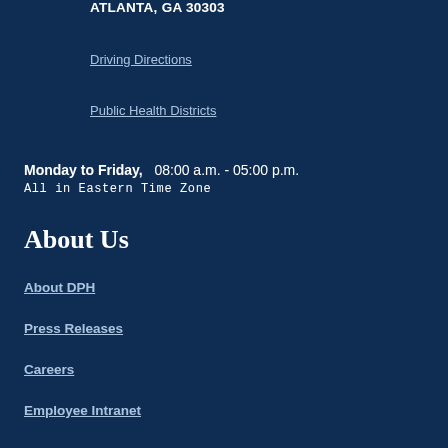ATLANTA, GA 30303
Driving Directions
Public Health Districts
Monday to Friday,  08:00 a.m. - 05:00 p.m.
All in Eastern Time Zone
About Us
About DPH
Press Releases
Careers
Employee Intranet